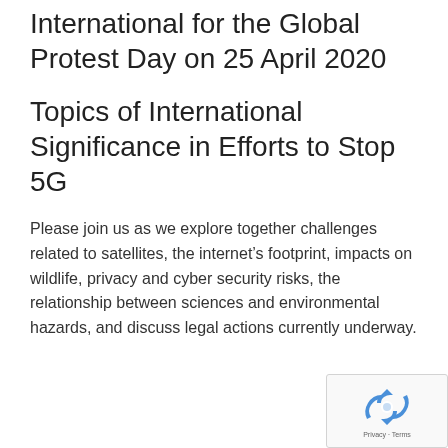International for the Global Protest Day on 25 April 2020
Topics of International Significance in Efforts to Stop 5G
Please join us as we explore together challenges related to satellites, the internet’s footprint, impacts on wildlife, privacy and cyber security risks, the relationship between sciences and environmental hazards, and discuss legal actions currently underway.
[Figure (logo): reCAPTCHA logo with Privacy and Terms text]